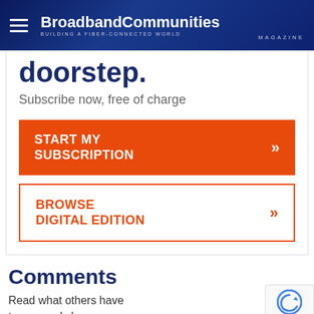BroadbandCommunities MAGAZINE — BUILDING A FIBER-CONNECTED WORLD
doorstep.
Subscribe now, free of charge
START MY SUBSCRIPTION »
BROWSE DIGITAL EDITION »
Comments
Read what others have to say, and share your